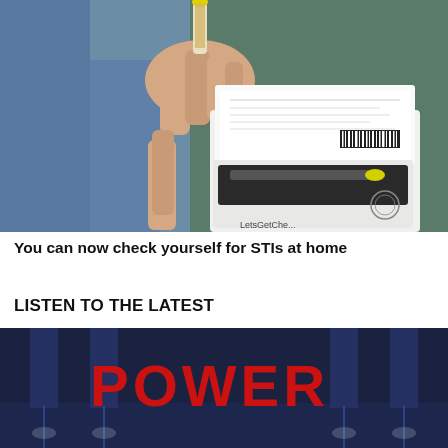[Figure (photo): Person holding a small yellow-capped vial above an open white test kit box labeled LetsGetChecked, containing a swab and paperwork]
You can now check yourself for STIs at home
LISTEN TO THE LATEST
[Figure (photo): Dark indoor scene with large red text reading POWER illuminated on a blue-tinted background with pillars]